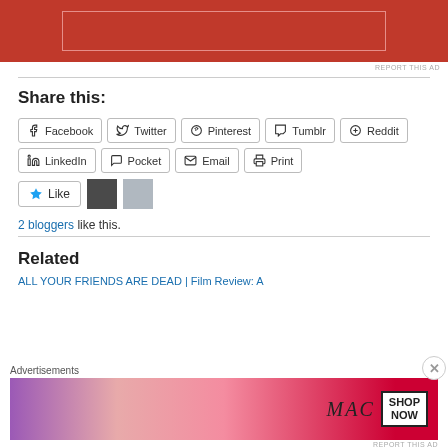[Figure (other): Red advertisement banner at top of page with inner bordered rectangle]
REPORT THIS AD
Share this:
[Figure (other): Share buttons row 1: Facebook, Twitter, Pinterest, Tumblr, Reddit]
[Figure (other): Share buttons row 2: LinkedIn, Pocket, Email, Print]
[Figure (other): Like button with star icon and two blogger avatar thumbnails]
2 bloggers like this.
Related
ALL YOUR FRIENDS ARE DEAD | Film Review: A
[Figure (other): MAC cosmetics advertisement banner with lipsticks and SHOP NOW button]
REPORT THIS AD